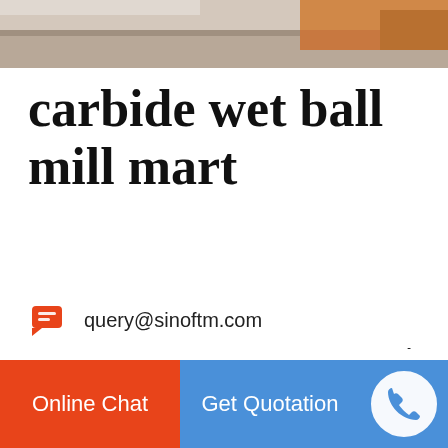[Figure (photo): Partial photo strip at top of page showing an outdoor industrial/road scene with orange-brown tones]
carbide wet ball mill mart
MIKRONS Planetary Ball Mill pulverizes and mixes - soft, medium, hard to extremely hard, brittle and fibrous materials. It is used wherever the highest degree of fineness is required. Dry and wet grinding can be carried out in a planetary ball mill. The grinding jars revolves horizontally in radial oscillations. The
query@sinoftm.com
Online Chat | Get Quotation